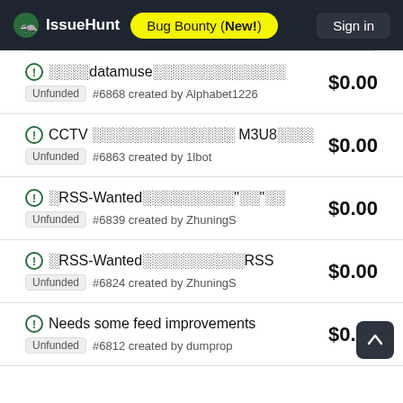IssueHunt  Bug Bounty (New!)  Sign in
⊙ ░░░░datamuse░░░░░░░░░░░░░  $0.00  Unfunded #6868 created by Alphabet1226
⊙ CCTV ░░░░░░░░░░░░░░ M3U8░░░░░░potpla...  $0.00  Unfunded #6863 created by 1lbot
⊙ ░RSS-Wanted░░░░░░░░░"░░"░░  $0.00  Unfunded #6839 created by ZhuningS
⊙ ░RSS-Wanted░░░░░░░░░░RSS  $0.00  Unfunded #6824 created by ZhuningS
⊙ Needs some feed improvements  $0.00  Unfunded #6812 created by dumprop